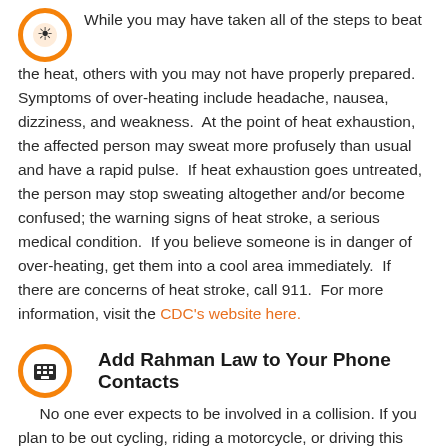While you may have taken all of the steps to beat the heat, others with you may not have properly prepared. Symptoms of over-heating include headache, nausea, dizziness, and weakness. At the point of heat exhaustion, the affected person may sweat more profusely than usual and have a rapid pulse. If heat exhaustion goes untreated, the person may stop sweating altogether and/or become confused; the warning signs of heat stroke, a serious medical condition. If you believe someone is in danger of over-heating, get them into a cool area immediately. If there are concerns of heat stroke, call 911. For more information, visit the CDC's website here.
Add Rahman Law to Your Phone Contacts
No one ever expects to be involved in a collision. If you plan to be out cycling, riding a motorcycle, or driving this summer, be sure to add us to your contacts in your phone. That way, you can call us immediately if you ever